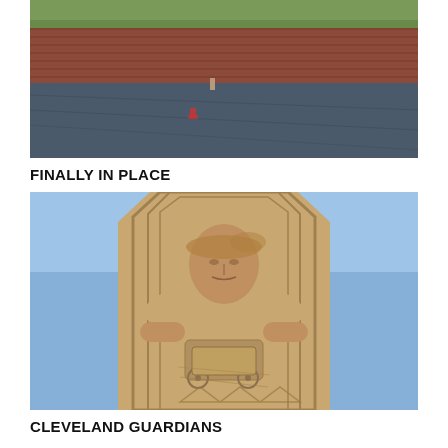[Figure (photo): Outdoor brick courtyard area with a paved ground and a small figure in the distance near a brick wall, green trees visible at top]
FINALLY IN PLACE
[Figure (photo): Close-up of a large Art Deco stone guardian statue holding a carriage, with a blue sky background — Cleveland Guardians of Traffic bridge statue]
CLEVELAND GUARDIANS